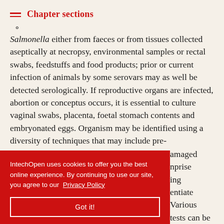Chapter sections
Salmonella either from faeces or from tissues collected aseptically at necropsy, environmental samples or rectal swabs, feedstuffs and food products; prior or current infection of animals by some serovars may as well be detected serologically. If reproductive organs are infected, abortion or conceptus occurs, it is essential to culture vaginal swabs, placenta, foetal stomach contents and embryonated eggs. Organism may be identified using a diversity of techniques that may include pre-...amaged ...nprise ...ing ...entiate ...Various biochemical, serological and molecular tests can be
IntechOpen uses cookies to offer you the best online experience. By continuing to use our site, you agree to our Privacy Policy
Got it!